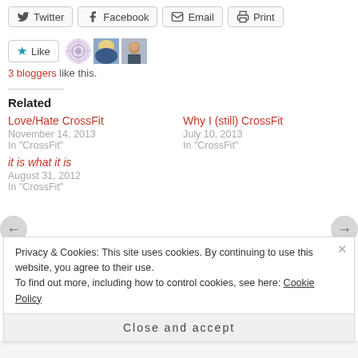Twitter | Facebook | Email | Print
[Figure (other): Like button with star icon and 3 blogger avatars (circular pattern avatar, blonde woman photo, person in gym photo)]
3 bloggers like this.
Related
Love/Hate CrossFit
November 14, 2013
In "CrossFit"
Why I (still) CrossFit
July 10, 2013
In "CrossFit"
it is what it is
August 31, 2012
In "CrossFit"
Privacy & Cookies: This site uses cookies. By continuing to use this website, you agree to their use.
To find out more, including how to control cookies, see here: Cookie Policy
Close and accept